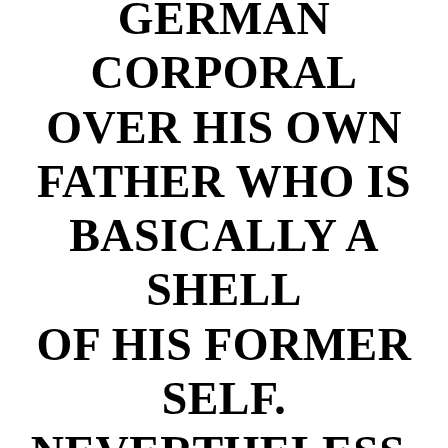GERMAN CORPORAL OVER HIS OWN FATHER WHO IS BASICALLY A SHELL OF HIS FORMER SELF. NEVERTHELESS, JO ALWAYS REMAINS FOCUSED ON DOING